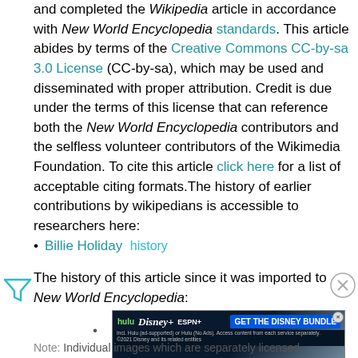and completed the Wikipedia article in accordance with New World Encyclopedia standards. This article abides by terms of the Creative Commons CC-by-sa 3.0 License (CC-by-sa), which may be used and disseminated with proper attribution. Credit is due under the terms of this license that can reference both the New World Encyclopedia contributors and the selfless volunteer contributors of the Wikimedia Foundation. To cite this article click here for a list of acceptable citing formats.The history of earlier contributions by wikipedians is accessible to researchers here:
Billie Holiday  history
The history of this article since it was imported to New World Encyclopedia:
[Figure (other): Advertisement banner for Disney Bundle (Hulu, Disney+, ESPN+)]
Note: Individual images which are separately licensed